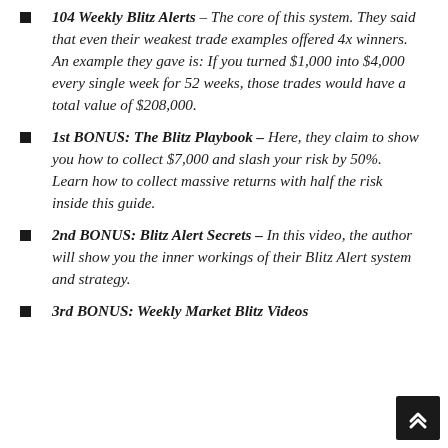104 Weekly Blitz Alerts – The core of this system. They said that even their weakest trade examples offered 4x winners. An example they gave is: If you turned $1,000 into $4,000 every single week for 52 weeks, those trades would have a total value of $208,000.
1st BONUS: The Blitz Playbook – Here, they claim to show you how to collect $7,000 and slash your risk by 50%. Learn how to collect massive returns with half the risk inside this guide.
2nd BONUS: Blitz Alert Secrets – In this video, the author will show you the inner workings of their Blitz Alert system and strategy.
3rd BONUS: Weekly Market Blitz Videos